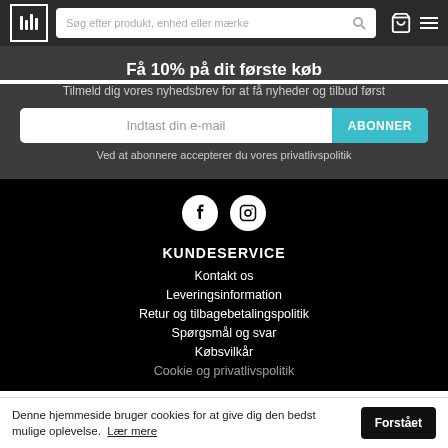Søg efter produkt, enhed eller mærke
Få 10% på dit første køb
Tilmeld dig vores nyhedsbrev for at få nyheder og tilbud først
Indtast din e-mail | ABONNER
Ved at abonnere accepterer du vores privatlivspolitik
[Figure (logo): Facebook and Instagram social media icons (white circles on black background)]
KUNDESERVICE
Kontakt os
Leveringsinformation
Retur og tilbagebetalingspolitik
Spørgsmål og svar
Købsvilkår
Denne hjemmeside bruger cookies for at give dig den bedst mulige oplevelse. Lær mere | Forstået